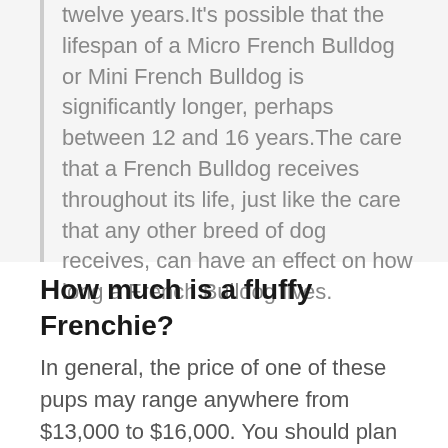twelve years.It's possible that the lifespan of a Micro French Bulldog or Mini French Bulldog is significantly longer, perhaps between 12 and 16 years.The care that a French Bulldog receives throughout its life, just like the care that any other breed of dog receives, can have an effect on how long a French Bulldog lives.
How much is a fluffy Frenchie?
In general, the price of one of these pups may range anywhere from $13,000 to $16,000. You should plan on spending somewhere in that price range. That is a